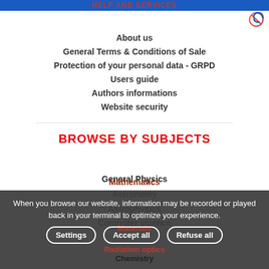HELP AND SERVICES
About us
General Terms & Conditions of Sale
Protection of your personal data - GRPD
Users guide
Authors informations
Website security
BROWSE BY SUBJECTS
General Physics
Astronomy
Astrophysics
Computer science
Mathematics
Materials
Radiation optics
Chemistry
When you browse our website, information may be recorded or played back in your terminal to optimize your experience.